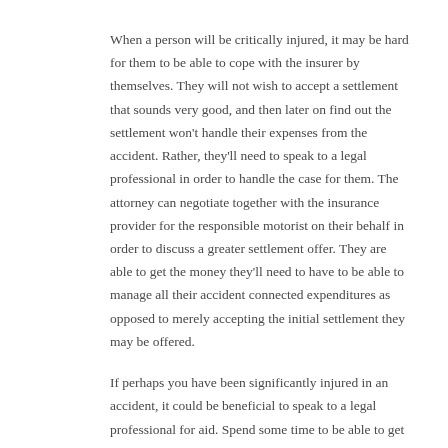When a person will be critically injured, it may be hard for them to be able to cope with the insurer by themselves. They will not wish to accept a settlement that sounds very good, and then later on find out the settlement won't handle their expenses from the accident. Rather, they'll need to speak to a legal professional in order to handle the case for them. The attorney can negotiate together with the insurance provider for the responsible motorist on their behalf in order to discuss a greater settlement offer. They are able to get the money they'll need to have to be able to manage all their accident connected expenditures as opposed to merely accepting the initial settlement they may be offered.
If perhaps you have been significantly injured in an accident, it could be beneficial to speak to a legal professional for aid. Spend some time to be able to get in touch with a colorado springs personal injury attorney if you'll have any kind of inquiries or perhaps desire to determine if hiring an attorney will